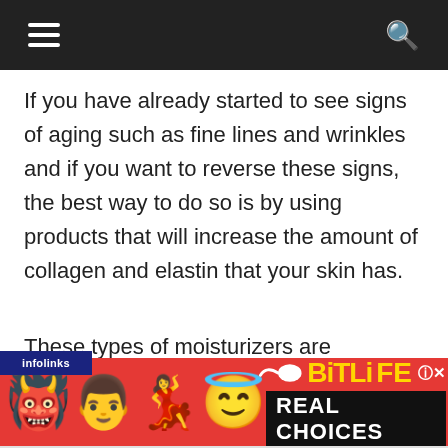Navigation bar with hamburger menu and search icon
If you have already started to see signs of aging such as fine lines and wrinkles and if you want to reverse these signs, the best way to do so is by using products that will increase the amount of collagen and elastin that your skin has.
These types of moisturizers are
[Figure (advertisement): BitLife - Real Choices advertisement banner with emoji characters (devil, person shrugging, angel) on a red background, with a sperm icon and BitLife logo in yellow, and REAL CHOICES text in white on black. Infolinks label in top-left corner.]